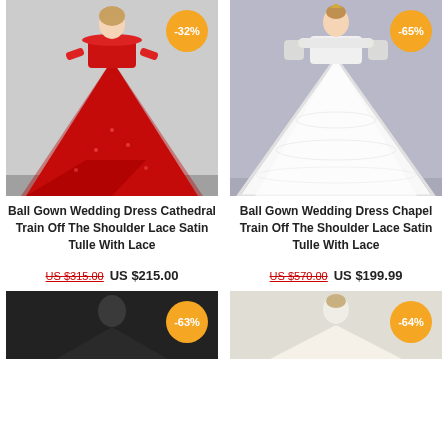[Figure (photo): Red ball gown wedding dress with cathedral train, off-the-shoulder, lace and satin tulle, with -32% discount badge]
Ball Gown Wedding Dress Cathedral Train Off The Shoulder Lace Satin Tulle With Lace
US $315.00  US $215.00
[Figure (photo): White ball gown wedding dress with chapel train, off-the-shoulder, lace and satin tulle, with -65% discount badge]
Ball Gown Wedding Dress Chapel Train Off The Shoulder Lace Satin Tulle With Lace
US $570.00  US $199.99
[Figure (photo): Dark/black wedding dress partially visible, with -63% discount badge]
[Figure (photo): Cream/ivory wedding dress partially visible, with -64% discount badge]